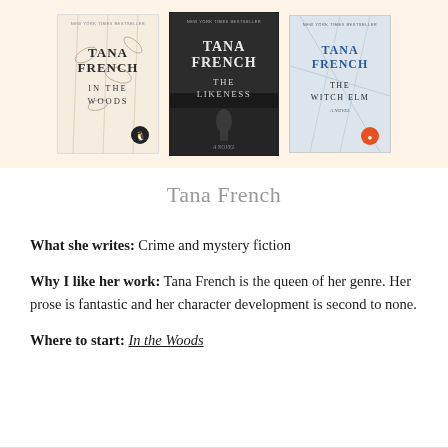[Figure (illustration): Three book covers by Tana French displayed side by side on a warm beige background: 'In the Woods' (white/cream cover with botanical illustration), 'The Likeness' (dark cover with atmospheric scene), and 'The Witch Elm' (pale blue/grey cover with tree motif).]
Tana French
What she writes: Crime and mystery fiction
Why I like her work: Tana French is the queen of her genre. Her prose is fantastic and her character development is second to none.
Where to start: In the Woods